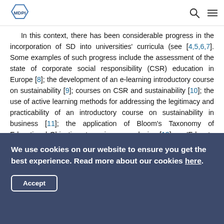MDPI [logo] [search icon] [menu icon]
In this context, there has been considerable progress in the incorporation of SD into universities' curricula (see [4,5,6,7]. Some examples of such progress include the assessment of the state of corporate social responsibility (CSR) education in Europe [8]; the development of an e-learning introductory course on sustainability [9]; courses on CSR and sustainability [10]; the use of active learning methods for addressing the legitimacy and practicability of an introductory course on sustainability in business [11]; the application of Bloom's Taxonomy of Educational Objectives to a six-course design [12]; an 'Educate the Educators' programme [13]; an alumni survey to explore the corporate sustainability practice experiences of their MBA graduates [14]; the development of a...
We use cookies on our website to ensure you get the best experience. Read more about our cookies here.
Accept